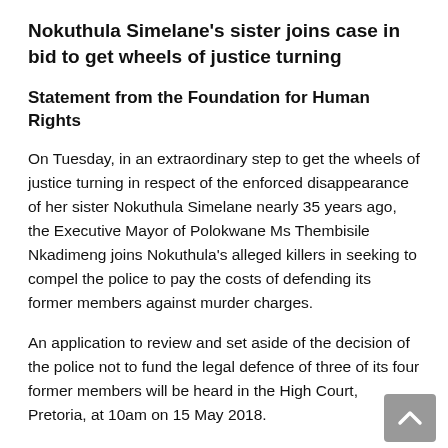Nokuthula Simelane’s sister joins case in bid to get wheels of justice turning
Statement from the Foundation for Human Rights
On Tuesday, in an extraordinary step to get the wheels of justice turning in respect of the enforced disappearance of her sister Nokuthula Simelane nearly 35 years ago, the Executive Mayor of Polokwane Ms Thembisile Nkadimeng joins Nokuthula’s alleged killers in seeking to compel the police to pay the costs of defending its former members against murder charges.
An application to review and set aside of the decision of the police not to fund the legal defence of three of its four former members will be heard in the High Court, Pretoria, at 10am on 15 May 2018.
In February 2016, following sustained pressure from